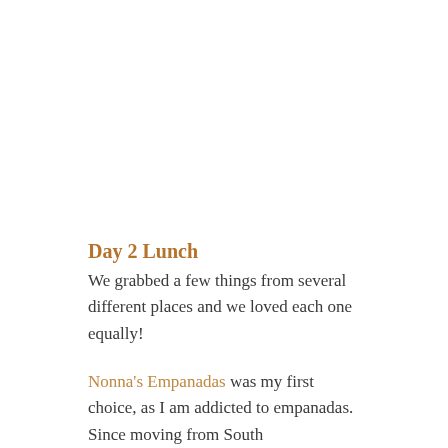Day 2 Lunch
We grabbed a few things from several different places and we loved each one equally!
Nonna's Empanadas was my first choice, as I am addicted to empanadas. Since moving from South